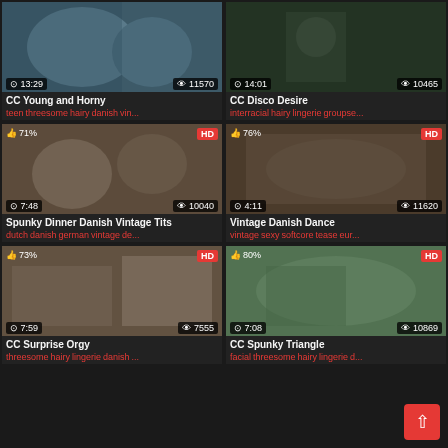[Figure (screenshot): Video thumbnail grid showing 6 video cards in 2 columns, 3 rows. Each card has a thumbnail image, time, views, title, and tags.]
CC Young and Horny | teen threesome hairy danish vin...
CC Disco Desire | interracial hairy lingerie groupse...
Spunky Dinner Danish Vintage Tits | dutch danish german vintage de...
Vintage Danish Dance | vintage sexy softcore tease eur...
CC Surprise Orgy | threesome hairy lingerie danish...
CC Spunky Triangle | facial threesome hairy lingerie d...